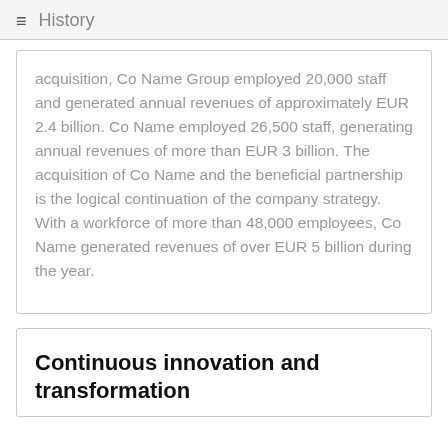≡ History
acquisition, Co Name Group employed 20,000 staff and generated annual revenues of approximately EUR 2.4 billion. Co Name employed 26,500 staff, generating annual revenues of more than EUR 3 billion. The acquisition of Co Name and the beneficial partnership is the logical continuation of the company strategy. With a workforce of more than 48,000 employees, Co Name generated revenues of over EUR 5 billion during the year.
Continuous innovation and transformation